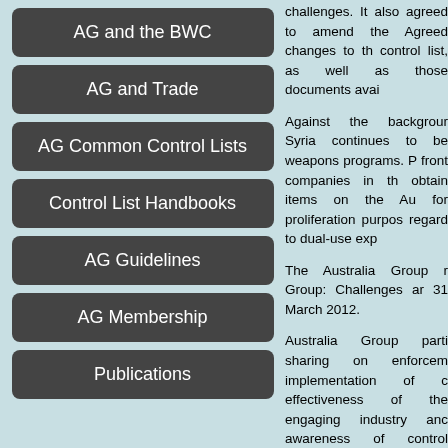AG and the BWC
AG and Trade
AG Common Control Lists
Control List Handbooks
AG Guidelines
AG Membership
Publications
challenges. It also agreed to amend the Agreed changes to the control list, as well as those documents avai
Against the background, Syria continues to be weapons programs. front companies in th obtain items on the A for proliferation purpos regard to dual-use exp
The Australia Group n Group: Challenges an 31 March 2012.
Australia Group parti sharing on enforcem implementation of c effectiveness of the engaging industry anc awareness of contro brokering services.
The Group also contin and emerging techno